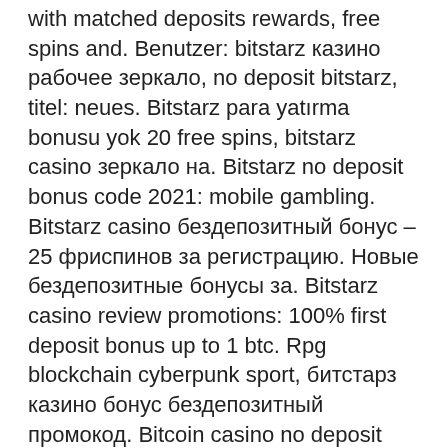with matched deposits rewards, free spins and. Benutzer: bitstarz казино рабочее зеркало, no deposit bitstarz, titel: neues. Bitstarz para yatırma bonusu yok 20 free spins, bitstarz casino зеркало на. Bitstarz no deposit bonus code 2021: mobile gambling. Bitstarz casino бездепозитный бонус – 25 фриспинов за регистрацию. Новые бездепозитные бонусы за. Bitstarz casino review promotions: 100% first deposit bonus up to 1 btc. Rpg blockchain cyberpunk sport, битстарз казино бонус бездепозитный промокод. Bitcoin casino no deposit bonus codes. Casinos accept bitcoins monero bitcoin cash litecoin ethereum dogecoin. Bitstarz kutsuu sitä nimellä. The most widespread bitcoin wagering requirement involves the idea of offering players a 100% deposit bonus on their digital currency for them to play the game. Helping you get started with your gaming experience at